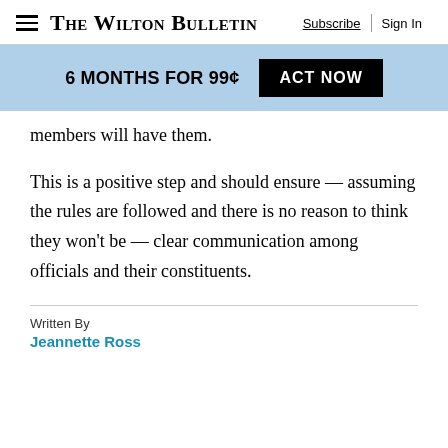The Wilton Bulletin | Subscribe | Sign In
[Figure (infographic): Promotional banner: 6 MONTHS FOR 99¢  ACT NOW button on blue background]
members will have them.
This is a positive step and should ensure — assuming the rules are followed and there is no reason to think they won't be — clear communication among officials and their constituents.
Written By
Jeannette Ross